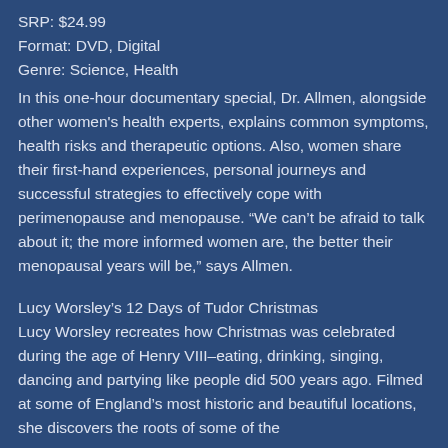SRP: $24.99
Format: DVD, Digital
Genre: Science, Health
In this one-hour documentary special, Dr. Allmen, alongside other women's health experts, explains common symptoms, health risks and therapeutic options. Also, women share their first-hand experiences, personal journeys and successful strategies to effectively cope with perimenopause and menopause. “We can't be afraid to talk about it; the more informed women are, the better their menopausal years will be,” says Allmen.
Lucy Worsley’s 12 Days of Tudor Christmas
Lucy Worsley recreates how Christmas was celebrated during the age of Henry VIII–eating, drinking, singing, dancing and partying like people did 500 years ago. Filmed at some of England’s most historic and beautiful locations, she discovers the roots of some of the